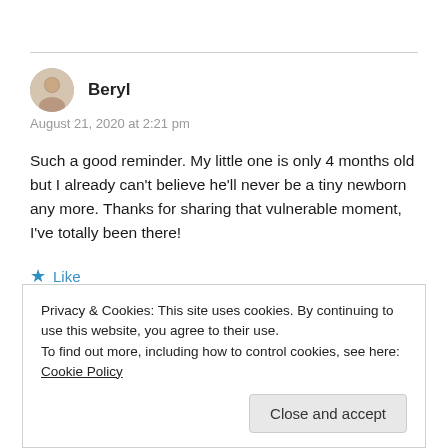Beryl
August 21, 2020 at 2:21 pm
Such a good reminder. My little one is only 4 months old but I already can't believe he'll never be a tiny newborn any more. Thanks for sharing that vulnerable moment, I've totally been there!
★ Like
Privacy & Cookies: This site uses cookies. By continuing to use this website, you agree to their use.
To find out more, including how to control cookies, see here: Cookie Policy
Close and accept